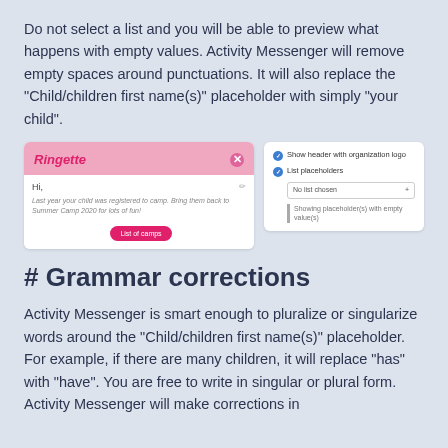Do not select a list and you will be able to preview what happens with empty values. Activity Messenger will remove empty spaces around punctuations. It will also replace the "Child/children first name(s)" placeholder with simply "your child".
[Figure (screenshot): Two side-by-side UI screenshots: left shows a Ringette email preview with pink header, greeting 'Hi,' italicized body text about summer camp, and a pink 'List of camps' button. Right panel shows a settings UI with two checked options 'Show header with organization logo' and 'List placeholders', a dropdown showing 'No list chosen', and a text note 'Showing placeholder(s) with empty value(s)'.]
# Grammar corrections
Activity Messenger is smart enough to pluralize or singularize words around the "Child/children first name(s)" placeholder. For example, if there are many children, it will replace "has" with "have". You are free to write in singular or plural form. Activity Messenger will make corrections in